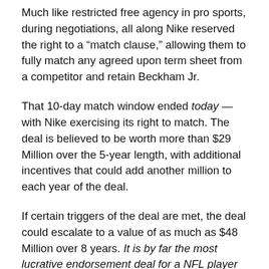Much like restricted free agency in pro sports, during negotiations, all along Nike reserved the right to a “match clause,” allowing them to fully match any agreed upon term sheet from a competitor and retain Beckham Jr.
That 10-day match window ended today — with Nike exercising its right to match. The deal is believed to be worth more than $29 Million over the 5-year length, with additional incentives that could add another million to each year of the deal.
If certain triggers of the deal are met, the deal could escalate to a value of as much as $48 Million over 8 years. It is by far the most lucrative endorsement deal for a NFL player to date.